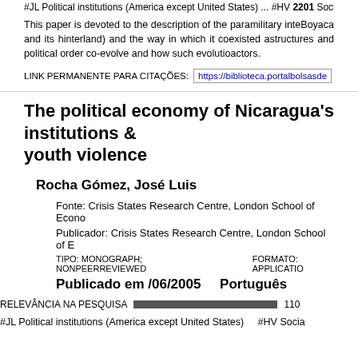#JL Political institutions (America except United States) ... #HV Social pathology. Social and public welfare. Criminology
This paper is devoted to the description of the paramilitary intervention in Boyaca and its hinterland) and the way in which it coexisted and how structures and political order co-evolve and how such evolution shaped actors.
LINK PERMANENTE PARA CITAÇÕES: https://biblioteca.portalbolsasde...
The political economy of Nicaragua's institutions and youth violence
Rocha Gómez, José Luis
Fonte: Crisis States Research Centre, London School of Economics...
Publicador: Crisis States Research Centre, London School of E...
TIPO: MONOGRAPH; NONPEERREVIEWED     FORMATO: APPLICATION...
Publicado em /06/2005     Português
RELEVÂNCIA NA PESQUISA  1100
#JL Political institutions (America except United States)     #HV Socia...